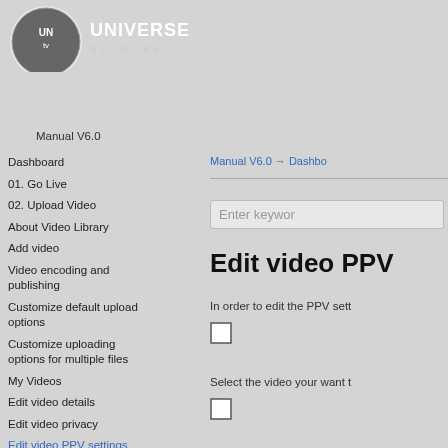[Figure (logo): Universe Network logo — circular emblem with 'UN tv' text and 'UNIVERSE NETWORK' wordmark in white on dark background]
Manual V6.0
Dashboard
01. Go Live
02. Upload Video
About Video Library
Add video
Video encoding and publishing
Customize default upload options
Customize uploading options for multiple files
My Videos
Edit video details
Edit video privacy
Edit video PPV settings
Manual V6.0 → Dashbo
Enter keywor
Edit video PPV
In order to edit the PPV sett
Select the video your want t